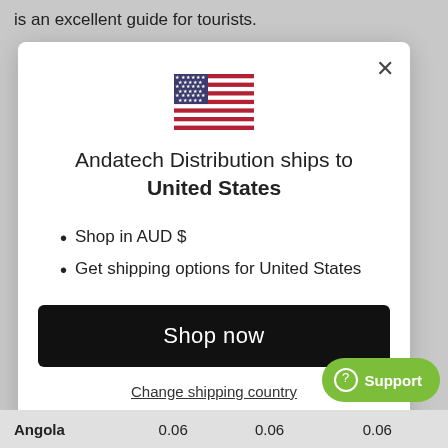is an excellent guide for tourists.
[Figure (screenshot): Modal dialog showing Andatech Distribution ships to United States with US flag, bullet points for Shop in AUD $ and Get shipping options for United States, a Shop now button, and a Change shipping country link.]
Andatech Distribution ships to United States
Shop in AUD $
Get shipping options for United States
Shop now
Change shipping country
| Angola | 0.06 | 0.06 | 0.06 |
| --- | --- | --- | --- |